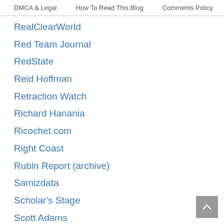DMCA & Legal   How To Read This Blog   Comments Policy   Search
RealClearWorld
Red Team Journal
RedState
Reid Hoffman
Retraction Watch
Richard Hanania
Ricochet.com
Right Coast
Rubin Report (archive)
Samizdata
Scholar's Stage
Scott Adams